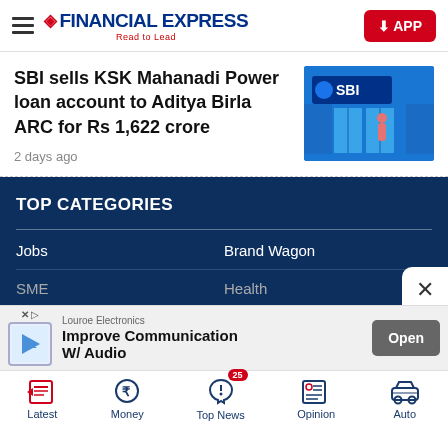FINANCIAL EXPRESS - Read to Lead
SBI sells KSK Mahanadi Power loan account to Aditya Birla ARC for Rs 1,622 crore
2 days ago
[Figure (photo): SBI bank branch exterior with SBI logo in blue]
TOP CATEGORIES
Jobs
Brand Wagon
SME
Health
[Figure (screenshot): Advertisement banner for Louroe Electronics - Improve Communication W/ Audio with Open button]
Latest | Money | Top News (25) | Opinion | Auto